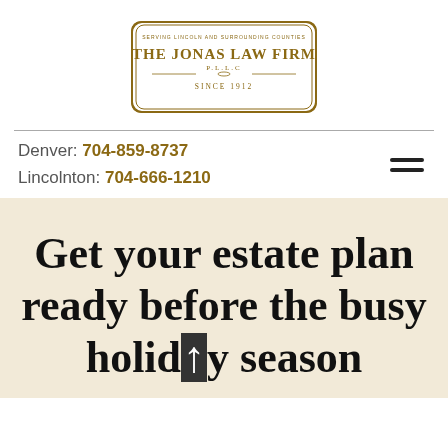[Figure (logo): The Jonas Law Firm PLLC logo — ornate rectangular border with text 'SERVING LINCOLN AND SURROUNDING COUNTIES', 'THE JONAS LAW FIRM', 'P.L.L.C', decorative dividers, 'SINCE 1912']
Denver: 704-859-8737
Lincolnton: 704-666-1210
Get your estate plan ready before the busy holiday season